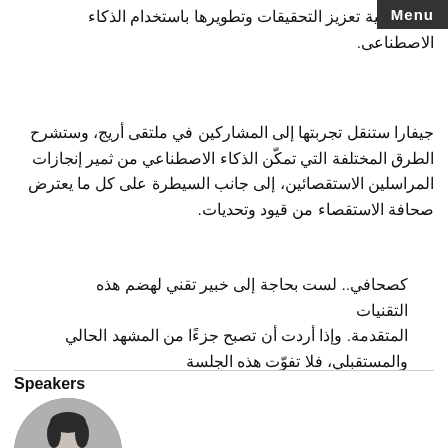حول كيفية تعزيز التحقيقات وتطويرها باستخدام الذكاء الاصطناعى.
جيفارا ستنقل تجربتها إلى المشاركين في ملتقى أريج، وستشرح الطرق المختلفة التي تمكّن الذكاء الاصطناعي من ثمير إنجازات المراسلين الاستقصائين، إلى جانب السيطرة على كل ما يعترض صحافة الاستقصاء من قيود وتحديات.
كصحافي.. لست بحاجة إلى خبير تقني لهضم هذه التقنيات المتقدمة. وإذا أردت أن تصبح جزءًا من المشهد الحالي والمستقبلي، فلا تفوّت هذه الجلسة
Speakers
[Figure (photo): Black and white circular portrait photo of a woman with dark hair]